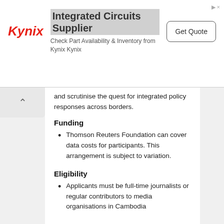[Figure (other): Kynix advertisement banner: Integrated Circuits Supplier. Check Part Availability & Inventory from Kynix Kynix. Get Quote button.]
and scrutinise the quest for integrated policy responses across borders.
Funding
Thomson Reuters Foundation can cover data costs for participants.  This arrangement is subject to variation.
Eligibility
Applicants must be full-time journalists or regular contributors to media organisations in Cambodia